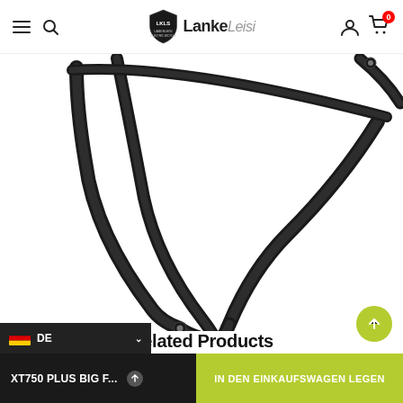LankeLeisi navigation bar with menu, search, logo, user and cart icons
[Figure (photo): Close-up photo of a black metal bicycle rear rack/carrier showing the tubular frame structure with mounting holes, on a white background]
Related Products
autoplay, increase/decrease aniam n
DE | XT750 PLUS BIG F... | IN DEN EINKAUFSWAGEN LEGEN